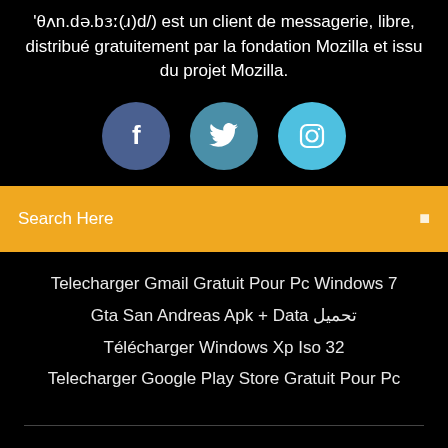'θʌn.də.bɜː(ɹ)d/) est un client de messagerie, libre, distribué gratuitement par la fondation Mozilla et issu du projet Mozilla.
[Figure (illustration): Three circular social media icons: Facebook (dark blue), Twitter (teal/blue), Instagram (light blue)]
Search Here
Telecharger Gmail Gratuit Pour Pc Windows 7
Gta San Andreas Apk + Data تحميل
Télécharger Windows Xp Iso 32
Telecharger Google Play Store Gratuit Pour Pc
Copyright ©2022 All rights reserved | This template is made with ♡ by Colorlib